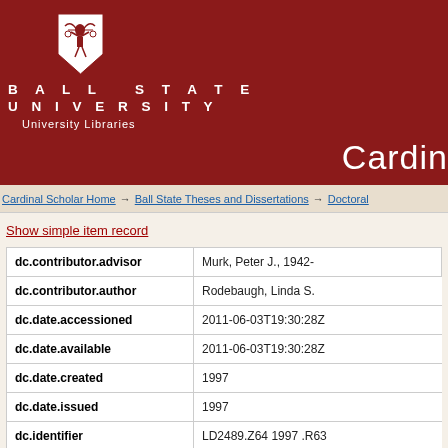[Figure (logo): Ball State University shield logo with text BALL STATE UNIVERSITY and University Libraries on dark red background, with partial text 'Cardin' at right]
Cardinal Scholar Home → Ball State Theses and Dissertations → Doctoral
Show simple item record
| Field | Value |
| --- | --- |
| dc.contributor.advisor | Murk, Peter J., 1942- |
| dc.contributor.author | Rodebaugh, Linda S. |
| dc.date.accessioned | 2011-06-03T19:30:28Z |
| dc.date.available | 2011-06-03T19:30:28Z |
| dc.date.created | 1997 |
| dc.date.issued | 1997 |
| dc.identifier | LD2489.Z64 1997 .R63 |
| dc.identifier.uri | http://cardinalscholar.bsu.edu/handle/hand |